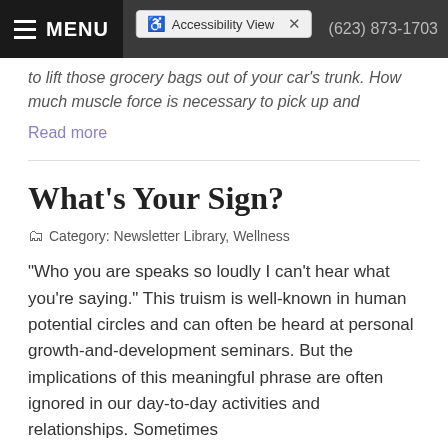MENU | Accessibility View | (623) 873-1703
to lift those grocery bags out of your car's trunk. How much muscle force is necessary to pick up and
Read more
What's Your Sign?
Category: Newsletter Library, Wellness
"Who you are speaks so loudly I can't hear what you're saying." This truism is well-known in human potential circles and can often be heard at personal growth-and-development seminars. But the implications of this meaningful phrase are often ignored in our day-to-day activities and relationships. Sometimes
Read more